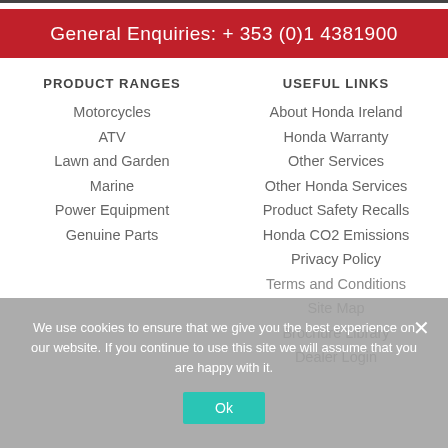General Enquiries: + 353 (0)1 4381900
PRODUCT RANGES
Motorcycles
ATV
Lawn and Garden
Marine
Power Equipment
Genuine Parts
USEFUL LINKS
About Honda Ireland
Honda Warranty
Other Services
Other Honda Services
Product Safety Recalls
Honda CO2 Emissions
Privacy Policy
Terms and Conditions
Site Map
Brochure Library
Dealer Login
We use cookies to ensure that we give you the best experience on our website. If you continue to use this site we will assume that you are happy with it.